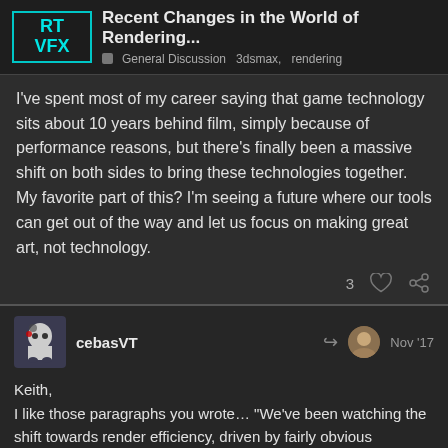RT VFX — Recent Changes in the World of Rendering... — General Discussion 3dsmax, rendering
I've spent most of my career saying that game technology sits about 10 years behind film, simply because of performance reasons, but there's finally been a massive shift on both sides to bring these technologies together. My favorite part of this? I'm seeing a future where our tools can get out of the way and let us focus on making great art, not technology.
3 ♡ 🔗
cebasVT — Nov '17
Keith,
I like those paragraphs you wrote… "We've been watching the shift towards render efficiency, driven by fairly obvious monetary gains,…" And that was what I was hoping you reply to my post – that is, your point of view.
5/8
I did not actually write those views – you m